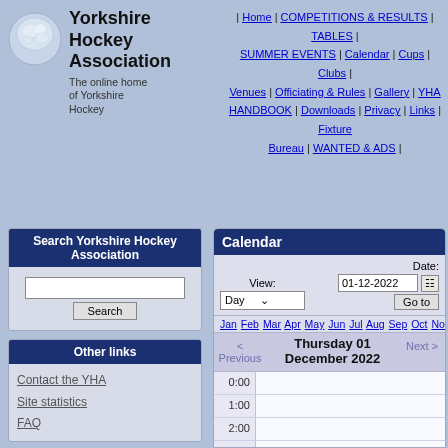[Figure (logo): Yorkshire Hockey Association logo - stylized hockey player icon]
Yorkshire Hockey Association
The online home of Yorkshire Hockey
| Home | COMPETITIONS & RESULTS | TABLES | SUMMER EVENTS | Calendar | Cups | Clubs | Venues | Officiating & Rules | Gallery | YHA HANDBOOK | Downloads | Privacy | Links | Fixture Bureau | WANTED & ADS |
Search Yorkshire Hockey Association
Other links
Contact the YHA
Site statistics
FAQ
Counter
This page today ...
total: 0
unique: 0

This page ever ...
total: 101752
unique: 9729

Site ...
total: 16620887
unique: 6596215
Welcome
Calendar
View: Day
Date: 01-12-2022
Go to
Jan Feb Mar Apr May Jun Jul Aug Sep Oct Nov Dec
Thursday 01 December 2022
0:00
1:00
2:00
3:00
4:00
5:00
6:00
7:00